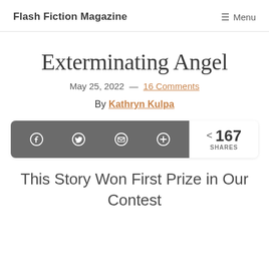Flash Fiction Magazine  ≡ Menu
Exterminating Angel
May 25, 2022 — 16 Comments
By Kathryn Kulpa
[Figure (infographic): Social share bar with Facebook, Twitter, email, and plus icons on dark grey background, with share count showing < 167 SHARES on white right panel]
This Story Won First Prize in Our Contest